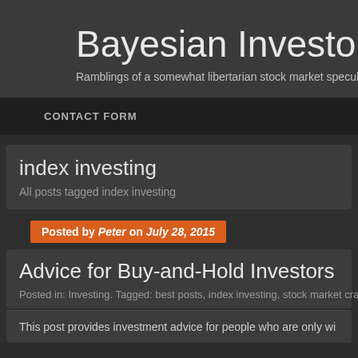Bayesian Investor Blog
Ramblings of a somewhat libertarian stock market specula…
CONTACT FORM
index investing
All posts tagged index investing
Posted by Peter on July 28, 2015
Advice for Buy-and-Hold Investors
Posted in: Investing. Tagged: best posts, index investing, stock market crash…
This post provides investment advice for people who are only wi…